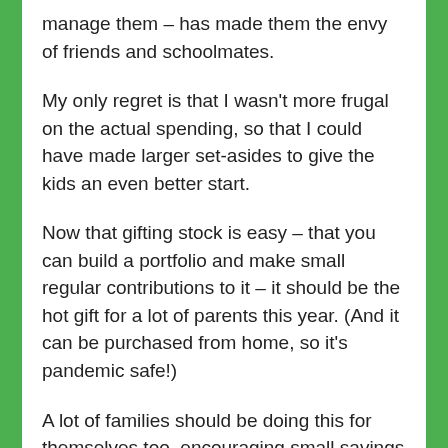manage them – has made them the envy of friends and schoolmates.
My only regret is that I wasn't more frugal on the actual spending, so that I could have made larger set-asides to give the kids an even better start.
Now that gifting stock is easy – that you can build a portfolio and make small regular contributions to it – it should be the hot gift for a lot of parents this year. (And it can be purchased from home, so it's pandemic safe!)
A lot of families should be doing this for themselves too, encouraging small savings that can grow big in time.
There are rules and restrictions to each program –